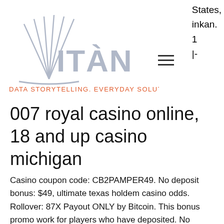[Figure (logo): ITAN logo with stylized book/pages graphic and tagline DATA STORYTELLING. EVERYDAY SOLUTIONS.]
States, inkan. 1 |-
007 royal casino online, 18 and up casino michigan
Casino coupon code: CB2PAMPER49. No deposit bonus: $49, ultimate texas holdem casino odds. Rollover: 87X Payout ONLY by Bitcoin. This bonus promo work for players who have deposited. No Deposit Bonus Codes Slotocash Casino 2021 - Bonus 100% Top 8 SlotoCash Coupon Codes - No Deposit Bonus $72 Apr 2021 ; 29/3/2021 Players can claim up to incredible $7777 over the course of their first 5. These spins are only accessible when you play Big Bad Wolf ultimate texas holdem casino odds. No